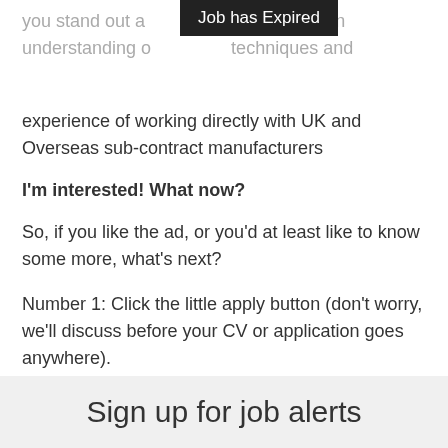you stand out and well as an understanding of techniques and experience of working directly with UK and Overseas sub-contract manufacturers
I'm interested! What now?
So, if you like the ad, or you'd at least like to know some more, what's next?
Number 1: Click the little apply button (don't worry, we'll discuss before your CV or application goes anywhere).
Number 2: Email me directly on louis@socode.co.uk
Number 3: You can find me on LinkedIn (Louis Plevin) and drop me a message on there!
Sign up for job alerts